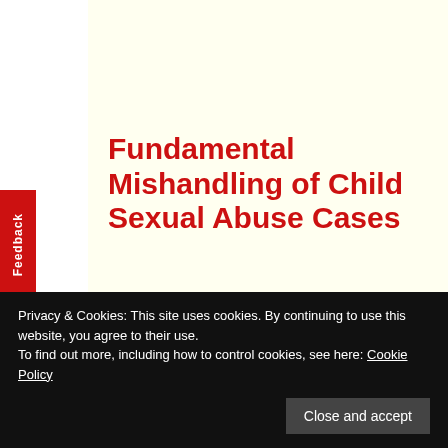Fundamental Mishandling of Child Sexual Abuse Cases
Perhaps the most disturbing ACE statistic is that in the United States, we allow one-quarter of our children to be sexually abused. There are other studies with similar
Privacy & Cookies: This site uses cookies. By continuing to use this website, you agree to their use. To find out more, including how to control cookies, see here: Cookie Policy
Although mothers make deliberate false reports of child